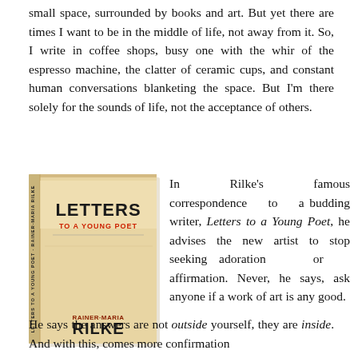small space, surrounded by books and art. But yet there are times I want to be in the middle of life, not away from it. So, I write in coffee shops, busy one with the whir of the espresso machine, the clatter of ceramic cups, and constant human conversations blanketing the space. But I'm there solely for the sounds of life, not the acceptance of others.
[Figure (photo): Book cover of 'Letters to a Young Poet' by Rainer-Maria Rilke, showing a worn tan/cream hardcover book standing upright]
In Rilke's famous correspondence to a budding writer, Letters to a Young Poet, he advises the new artist to stop seeking adoration or affirmation. Never, he says, ask anyone if a work of art is any good.
He says the answers are not outside yourself, they are inside. And with this, comes more confirmation